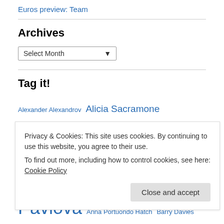Euros preview: Team
Archives
Select Month
Tag it!
Alexander Alexandrov Alicia Sacramone Aliya Mustafina Aly Raisman Amelia Racea Anna Pavlova Anna Portuondo Hatch Barry Davies Becky Downie Beth
Privacy & Cookies: This site uses cookies. By continuing to use this website, you agree to their use. To find out more, including how to control cookies, see here: Cookie Policy
Close and accept